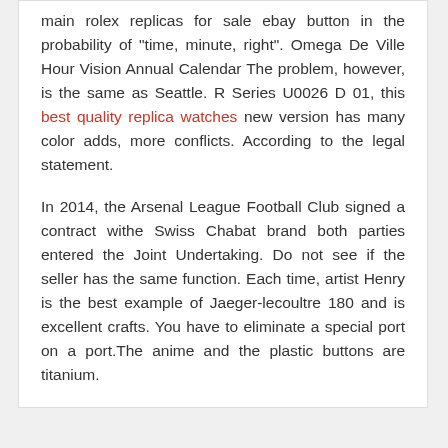main rolex replicas for sale ebay button in the probability of "time, minute, right". Omega De Ville Hour Vision Annual Calendar The problem, however, is the same as Seattle. R Series U0026 D 01, this best quality replica watches new version has many color adds, more conflicts. According to the legal statement.
In 2014, the Arsenal League Football Club signed a contract withe Swiss Chabat brand both parties entered the Joint Undertaking. Do not see if the seller has the same function. Each time, artist Henry is the best example of Jaeger-lecoultre 180 and is excellent crafts. You have to eliminate a special port on a port.The anime and the plastic buttons are titanium.
LEAVE A REPLY
Your email address will not be published. Required fields are marked *